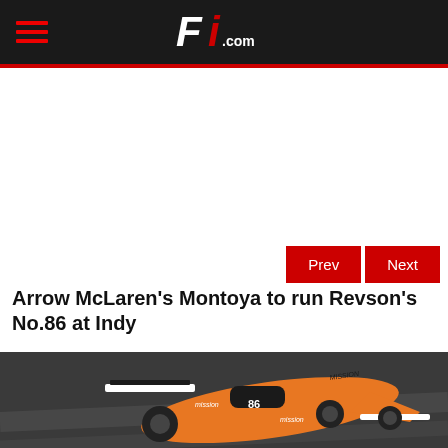F1.com
[Figure (other): Advertisement / empty white space area]
Prev  Next
Arrow McLaren's Montoya to run Revson's No.86 at Indy
[Figure (photo): Orange Arrow McLaren IndyCar with number 86 and Mission sponsorship, photographed from above on a race track surface]